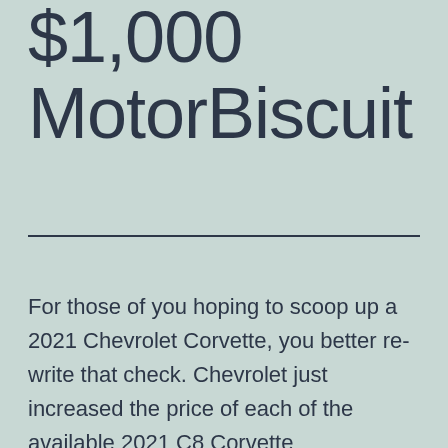$1,000 MotorBiscuit
For those of you hoping to scoop up a 2021 Chevrolet Corvette, you better re-write that check. Chevrolet just increased the price of each of the available 2021 C8 Corvette